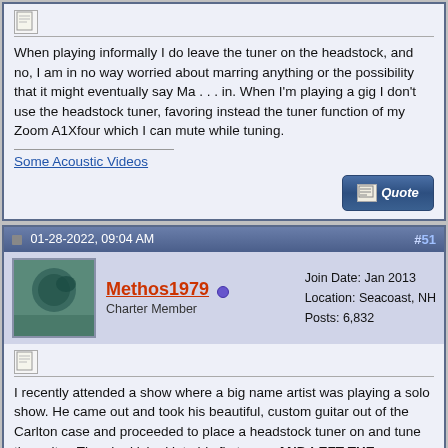Registered User
When playing informally I do leave the tuner on the headstock, and no, I am in no way worried about marring anything or the possibility that it might eventually say Ma . . . in. When I'm playing a gig I don't use the headstock tuner, favoring instead the tuner function of my Zoom A1Xfour which I can mute while tuning.
Some Acoustic Videos
01-28-2022, 09:04 AM
#51
Methos1979
Charter Member
Join Date: Jan 2013
Location: Seacoast, NH
Posts: 6,832
I recently attended a show where a big name artist was playing a solo show. He came out and took his beautiful, custom guitar out of the Carlton case and proceeded to place a headstock tuner on and tune the guitar. Then he kicked into his first song AND LEFT THE FREAKING TUNER ON THE HEADSTOCK! I couldn't believe it. Surely, he must have just forgotten. So I calmed down and then he played a second song WITH THE TUNER STILL ON THE HEADSTOCK!